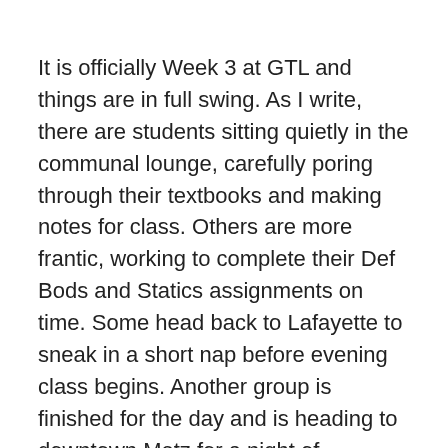It is officially Week 3 at GTL and things are in full swing. As I write, there are students sitting quietly in the communal lounge, carefully poring through their textbooks and making notes for class. Others are more frantic, working to complete their Def Bods and Statics assignments on time. Some head back to Lafayette to sneak in a short nap before evening class begins. Another group is finished for the day and is heading to downtown Metz for a night of shopping and festivities.
I can already sense that we are different from the wide-eyed students who arrived in Metz, France on the 11th. In a few short weeks, we have become tourists, experienced travellers, and even food critics. More soon, as the story is just about...